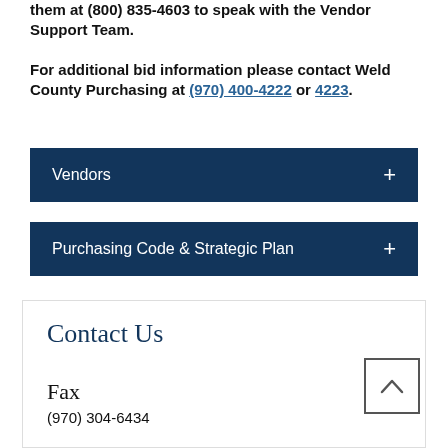them at (800) 835-4603 to speak with the Vendor Support Team.
For additional bid information please contact Weld County Purchasing at (970) 400-4222 or 4223.
Vendors
Purchasing Code & Strategic Plan
Contact Us
Fax
(970) 304-6434